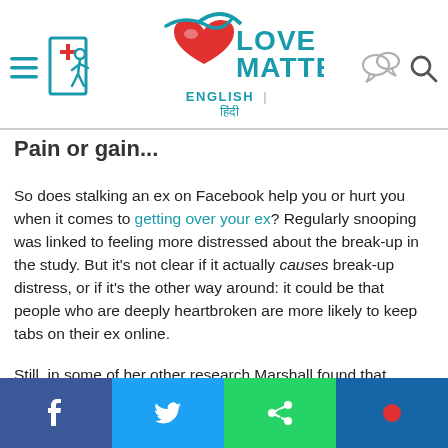Love Matters — ENGLISH | हिंदी
Pain or gain...
So does stalking an ex on Facebook help you or hurt you when it comes to getting over your ex? Regularly snooping was linked to feeling more distressed about the break-up in the study. But it's not clear if it actually causes break-up distress, or if it's the other way around: it could be that people who are deeply heartbroken are more likely to keep tabs on their ex online.
Still, in some of her other research Marshall found that stalking is linked to longing and pining for an ex long after breaking up, and it's
[Figure (other): Social share bar with Facebook (blue), Twitter (blue), WhatsApp/share (green), and YouTube (dark blue) buttons]